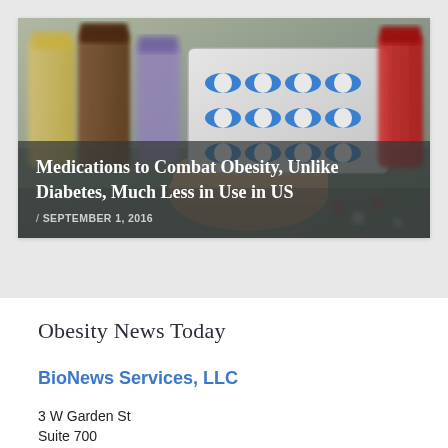[Figure (photo): A hand holding a blister pack of blue and white capsules, with various medicine bottles in the background on a blurred surface.]
Medications to Combat Obesity, Unlike Diabetes, Much Less in Use in US
/ SEPTEMBER 1, 2016
Obesity News Today
BioNews Services, LLC
3 W Garden St
Suite 700